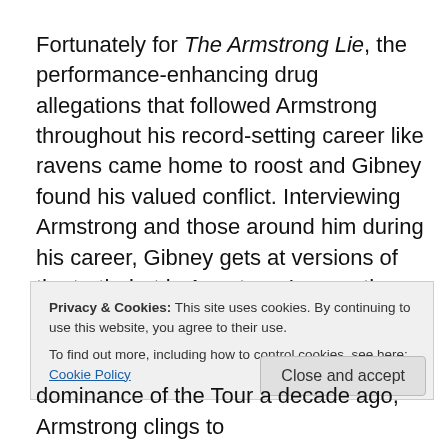Fortunately for The Armstrong Lie, the performance-enhancing drug allegations that followed Armstrong throughout his record-setting career like ravens came home to roost and Gibney found his valued conflict. Interviewing Armstrong and those around him during his career, Gibney gets at versions of the truth, but in Armstrong's case they were always mitigated by his
Privacy & Cookies: This site uses cookies. By continuing to use this website, you agree to their use.
To find out more, including how to control cookies, see here: Cookie Policy
dominance of the Tour a decade ago, Armstrong clings to